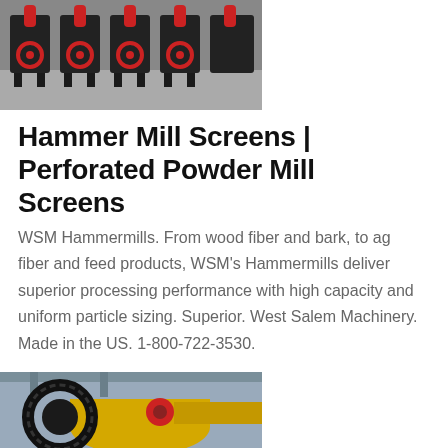[Figure (photo): Multiple large industrial hammer mills / cone crushers lined up in a warehouse or factory setting, dark machinery with red accents/wheels.]
Hammer Mill Screens | Perforated Powder Mill Screens
WSM Hammermills. From wood fiber and bark, to ag fiber and feed products, WSM’s Hammermills deliver superior processing performance with high capacity and uniform particle sizing. Superior. West Salem Machinery. Made in the US. 1-800-722-3530.
[Figure (photo): Close-up of a large yellow industrial ball mill with a large gear/ring drive and red-accented coupling, inside an industrial facility.]